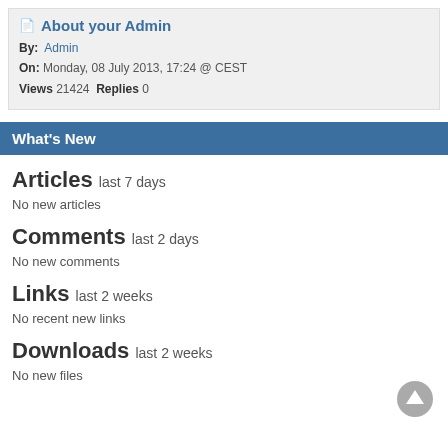About your Admin
By: Admin
On: Monday, 08 July 2013, 17:24 @ CEST
Views 21424  Replies 0
What's New
Articles last 7 days
No new articles
Comments last 2 days
No new comments
Links last 2 weeks
No recent new links
Downloads last 2 weeks
No new files